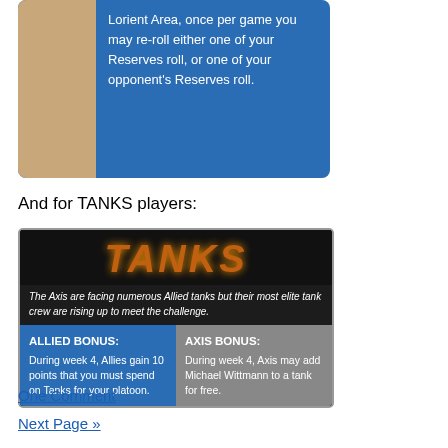[Figure (illustration): Blue card showing text about Lorient Area, re-rolling Reserves rolls, with a figure image on the left.]
And for TANKS players:
[Figure (illustration): TANKS game card. Title reads TANKS in fiery orange/brown letters on black background. Subtitle: 'The Axis are facing numerous Allied tanks but their most elite tank crew are rising up to meet the challenge.' Two bonus panels: ALLIED BONUS: During week 4, Allies gain 10 points that you must spend on Tanks for your platoon. AXIS BONUS: During week 4, Axis may add Michael Wittmann to a tank for free.]
One Comment
Next Page »